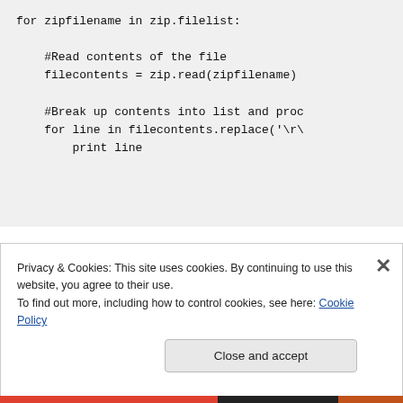for zipfilename in zip.filelist:
    #Read contents of the file
    filecontents = zip.read(zipfilename)

    #Break up contents into list and proc
    for line in filecontents.replace('\r\
        print line
Privacy & Cookies: This site uses cookies. By continuing to use this website, you agree to their use. To find out more, including how to control cookies, see here: Cookie Policy
Close and accept